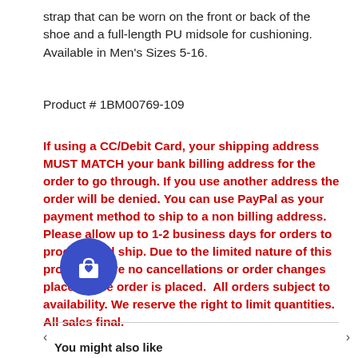strap that can be worn on the front or back of the shoe and a full-length PU midsole for cushioning. Available in Men's Sizes 5-16.
Product # 1BM00769-109
If using a CC/Debit Card, your shipping address MUST MATCH your bank billing address for the order to go through. If you use another address the order will be denied. You can use PayPal as your payment method to ship to a non billing address. Please allow up to 1-2 business days for orders to process and ship. Due to the limited nature of this product, there no cancellations or order changes placed once order is placed.  All orders subject to availability. We reserve the right to limit quantities. All sales final.
You might also like